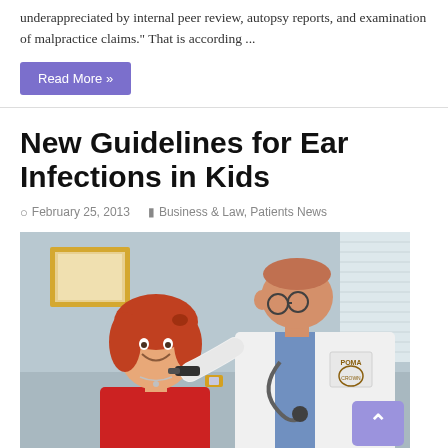underappreciated by internal peer review, autopsy reports, and examination of malpractice claims.” That is according ...
Read More »
New Guidelines for Ear Infections in Kids
○ February 25, 2013    ▤ Business & Law, Patients News
[Figure (photo): A doctor in a white lab coat with a stethoscope examining a young red-haired girl's ear using an otoscope. The girl is smiling. There is a framed picture on the wall in the background. The doctor's coat has a POMA logo patch.]